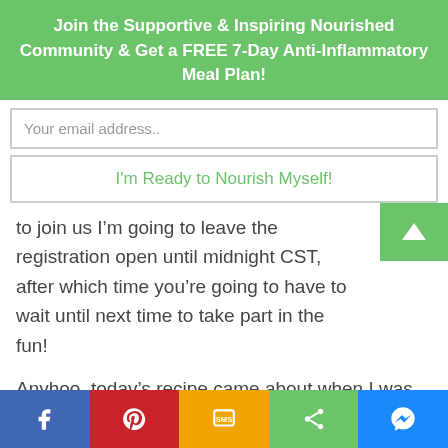Join the Supportive & Inspiring Nourished Community & Get a FREE 7-Day Anti-Inflammatory Meal Plan!
Your email address..
I'm Ready to Nourish Myself!
to join us I’m going to leave the registration open until midnight CST, after which time you’re going to have to wait until next time to take part in the fun!
Anyhoo, today’s recipe came about when I was trying to come up with a creative way to use some leftovers. I’m teaching myself how to budget (it’s a SLOW process…) and one of the